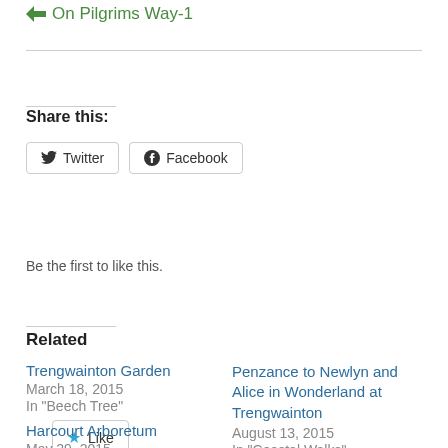On Pilgrims Way-1
Share this:
Twitter
Facebook
Like
Be the first to like this.
Related
Trengwainton Garden
March 18, 2015
In "Beech Tree"
Penzance to Newlyn and Alice in Wonderland at Trengwainton
August 13, 2015
In "Coastal Walks"
Harcourt Arboretum
May 29, 2015